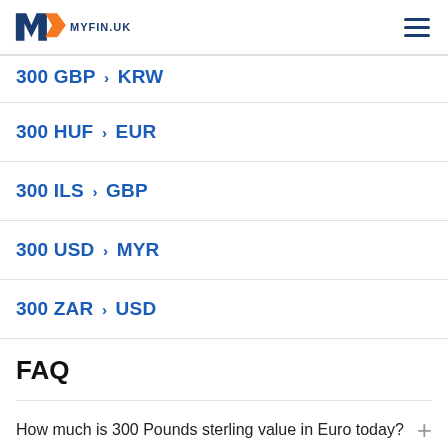MYFIN.UK
300 GBP > KRW
300 HUF > EUR
300 ILS > GBP
300 USD > MYR
300 ZAR > USD
FAQ
How much is 300 Pounds sterling value in Euro today?